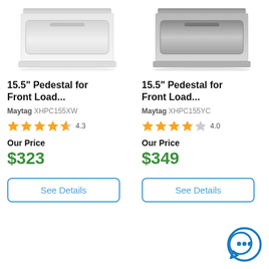[Figure (photo): White Maytag pedestal drawer for front load washer/dryer, product image on white background]
15.5" Pedestal for Front Load...
Maytag XHPC155XW
★★★★☆ 4.3
Our Price
$323
See Details
[Figure (photo): Gray/stainless Maytag pedestal drawer for front load washer/dryer, product image on white background]
15.5" Pedestal for Front Load...
Maytag XHPC155YC
★★★★☆ 4.0
Our Price
$349
See Details